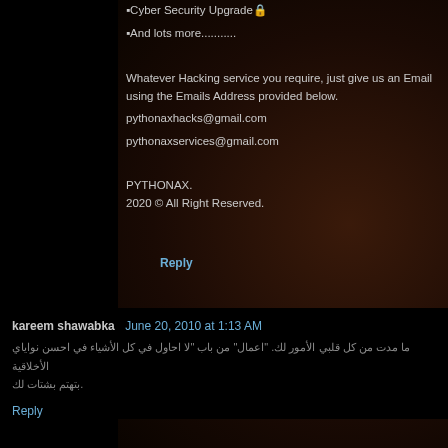▪Cyber Security Upgrade🔒
▪And lots more...........
Whatever Hacking service you require, just give us an Email using the Emails Address provided below.
pythonaxhacks@gmail.com
pythonaxservices@gmail.com
PYTHONAX.
2020 © All Right Reserved.
Reply
kareem shawabka   June 20, 2010 at 1:13 AM
Arabic comment text with quoted content
Reply